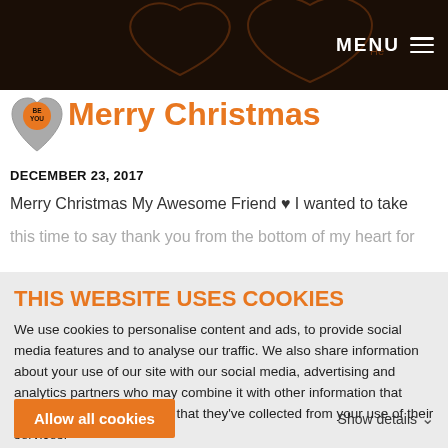MENU
[Figure (logo): Be You heart logo — orange circle with 'BE YOU' text inside a grey heart shape]
Merry Christmas
DECEMBER 23, 2017
Merry Christmas My Awesome Friend ♥ I wanted to take
this time to say thank you from the bottom of my heart for
THIS WEBSITE USES COOKIES
We use cookies to personalise content and ads, to provide social media features and to analyse our traffic. We also share information about your use of our site with our social media, advertising and analytics partners who may combine it with other information that you've provided to them or that they've collected from your use of their services.
Allow all cookies
Show details